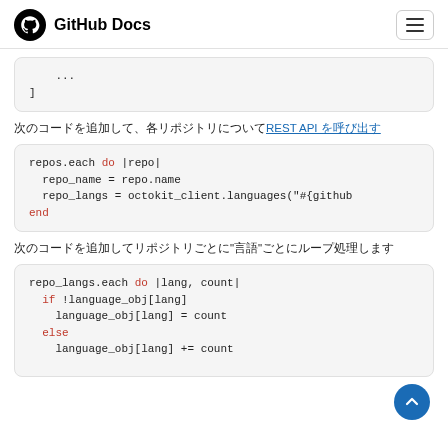GitHub Docs
[Figure (screenshot): Code block showing '...' and ']' in monospace font on grey background]
（前のステップで取得したリポジトリのリストを繰り返し処理してREST API を呼び出す）
[Figure (screenshot): Code block: repos.each do |repo| repo_name = repo.name repo_langs = octokit_client.languages("#{github end]
次のコードを追加してリポジトリごとに「言語」ごとにループ処理します
[Figure (screenshot): Code block: repo_langs.each do |lang, count| if !language_obj[lang] language_obj[lang] = count else language_obj[lang] += count]